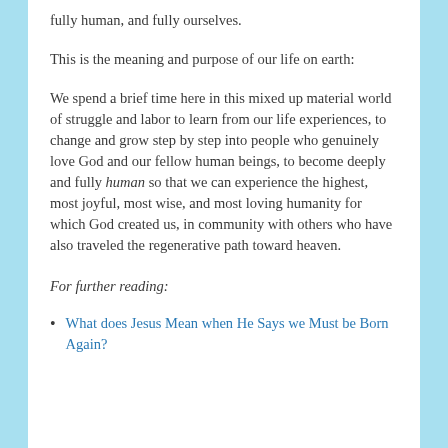fully human, and fully ourselves.
This is the meaning and purpose of our life on earth:
We spend a brief time here in this mixed up material world of struggle and labor to learn from our life experiences, to change and grow step by step into people who genuinely love God and our fellow human beings, to become deeply and fully human so that we can experience the highest, most joyful, most wise, and most loving humanity for which God created us, in community with others who have also traveled the regenerative path toward heaven.
For further reading:
What does Jesus Mean when He Says we Must be Born Again?